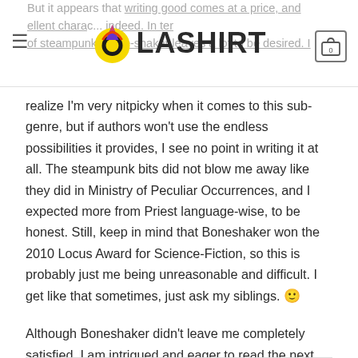Olashirt — navigation bar with logo and cart
But it appears that writing good comes at a price, and the excellent characters are few and far between indeed. In terms of steampunk, Bone-shaker leaves a lot to be desired. I realize I'm very nitpicky when it comes to this sub-genre, but if authors won't use the endless possibilities it provides, I see no point in writing it at all. The steampunk bits did not blow me away like they did in Ministry of Peculiar Occurrences, and I expected more from Priest language-wise, to be honest. Still, keep in mind that Boneshaker won the 2010 Locus Award for Science-Fiction, so this is probably just me being unreasonable and difficult. I get like that sometimes, just ask my siblings. 🙂
Although Boneshaker didn't leave me completely satisfied, I am intrigued and eager to read the next book in this series.